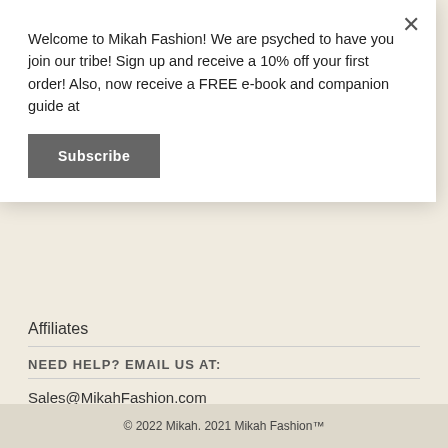Welcome to Mikah Fashion! We are psyched to have you join our tribe! Sign up and receive a 10% off your first order! Also, now receive a FREE e-book and companion guide at
Subscribe
Affiliates
NEED HELP? EMAIL US AT:
Sales@MikahFashion.com
SOCIAL MEDIA
[Figure (infographic): Social media icons: Facebook, YouTube, Pinterest, Instagram, Email]
© 2022 Mikah. 2021 Mikah Fashion™